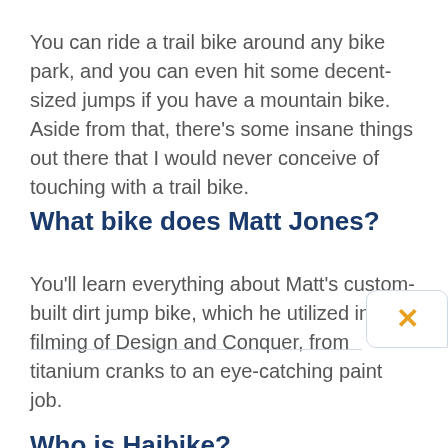You can ride a trail bike around any bike park, and you can even hit some decent-sized jumps if you have a mountain bike. Aside from that, there’s some insane things out there that I would never conceive of touching with a trail bike.
What bike does Matt Jones?
You’ll learn everything about Matt’s custom-built dirt jump bike, which he utilized in the filming of Design and Conquer, from titanium cranks to an eye-catching paint job.
Who is Haibike?